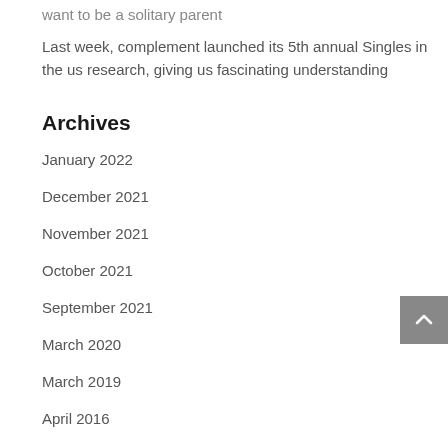want to be a solitary parent
Last week, complement launched its 5th annual Singles in the us research, giving us fascinating understanding
Archives
January 2022
December 2021
November 2021
October 2021
September 2021
March 2020
March 2019
April 2016
Categories